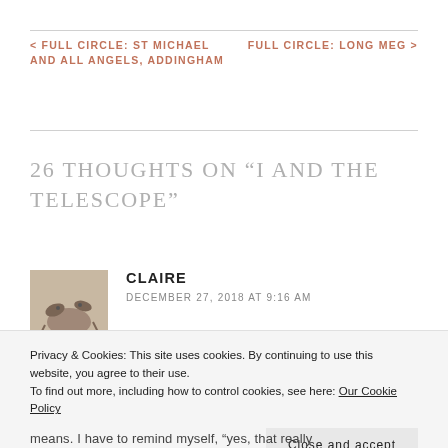< FULL CIRCLE: ST MICHAEL AND ALL ANGELS, ADDINGHAM
FULL CIRCLE: LONG MEG >
26 THOUGHTS ON “I AND THE TELESCOPE”
CLAIRE
DECEMBER 27, 2018 AT 9:16 AM
Privacy & Cookies: This site uses cookies. By continuing to use this website, you agree to their use.
To find out more, including how to control cookies, see here: Our Cookie Policy
means. I have to remind myself, “yes, that really